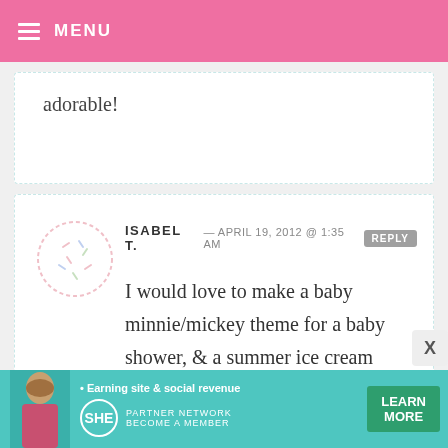MENU
adorable!
ISABEL T. — APRIL 19, 2012 @ 1:35 AM  REPLY
I would love to make a baby minnie/mickey theme for a baby shower, & a summer ice cream theme would be nice too. =0 )
JIGGAYE — APRIL 19, 2012 @ 1:34 AM  REPLY
[Figure (infographic): SHE Partner Network advertisement banner with teal background, woman photo, bullet points about earning site and social revenue, SHE logo, and Learn More button]